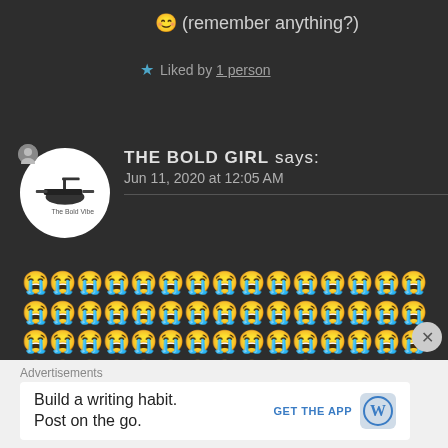😊 (remember anything?)
★ Liked by 1 person
THE BOLD GIRL says:
Jun 11, 2020 at 12:05 AM
😭😭😭😭😭😭😭😭😭😭😭😭😭😭😭😭😭😭😭😭😭😭😭😭😭😭😭😭😭😭😭😭😭😭😭😭😭😭😭😭😭😭😭😭😭😭😭😭😭😭😭😭😭😭😭😭😭😭😭😭😭😭😭😭😭😭😭😭😭😭😭😭😭😭😭😭😭😭😭😭😭😭😭😭
Advertisements
Build a writing habit. Post on the go.
GET THE APP